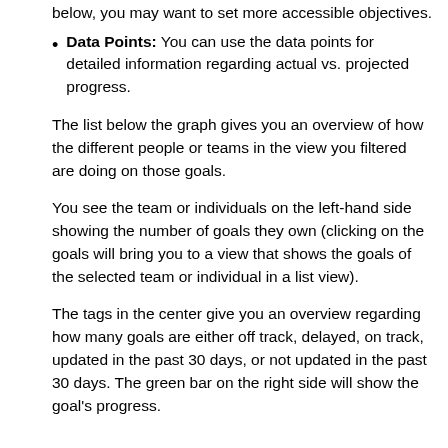Data Points: You can use the data points for detailed information regarding actual vs. projected progress.
The list below the graph gives you an overview of how the different people or teams in the view you filtered are doing on those goals.
You see the team or individuals on the left-hand side showing the number of goals they own (clicking on the goals will bring you to a view that shows the goals of the selected team or individual in a list view).
The tags in the center give you an overview regarding how many goals are either off track, delayed, on track, updated in the past 30 days, or not updated in the past 30 days. The green bar on the right side will show the goal’s progress.